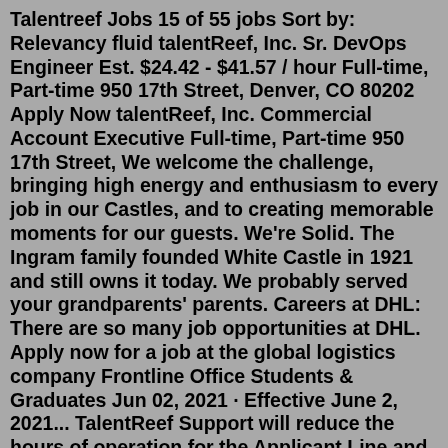Talentreef Jobs 15 of 55 jobs Sort by: Relevancy fluid talentReef, Inc. Sr. DevOps Engineer Est. $24.42 - $41.57 / hour Full-time, Part-time 950 17th Street, Denver, CO 80202 Apply Now talentReef, Inc. Commercial Account Executive Full-time, Part-time 950 17th Street, We welcome the challenge, bringing high energy and enthusiasm to every job in our Castles, and to creating memorable moments for our guests. We’re Solid. The Ingram family founded White Castle in 1921 and still owns it today. We probably served your grandparents’ parents. Careers at DHL: There are so many job opportunities at DHL. Apply now for a job at the global logistics company Frontline Office Students & Graduates Jun 02, 2021 · Effective June 2, 2021... TalentReef Support will reduce the hours of operation for the Applicant Line and will no longer support applicant calls on weekends. Support during weekdays will be from 12:00 PM to 7:00 PM ET. Applicants can still call the Support Center 5 days a week to receive assistance. 5 Talentreef Jobs Hiring Near You Sr. DevOps Engineer...